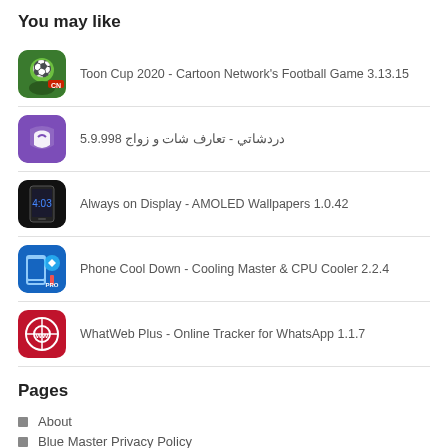You may like
Toon Cup 2020 - Cartoon Network's Football Game 3.13.15
دردشاتي - تعارف شات و زواج 5.9.998
Always on Display - AMOLED Wallpapers 1.0.42
Phone Cool Down - Cooling Master & CPU Cooler 2.2.4
WhatWeb Plus - Online Tracker for WhatsApp 1.1.7
Pages
About
Blue Master Privacy Policy
Contact
Disclaimer